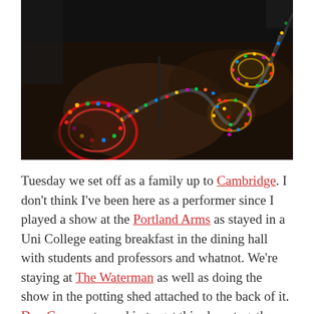[Figure (photo): A dark indoor photo showing glowing multicolored LED rope lights arranged in coiled and winding patterns on a floor, with warm and colorful light illuminating the scene.]
Tuesday we set off as a family up to Cambridge. I don't think I've been here as a performer since I played a show at the Portland Arms as stayed in a Uni College eating breakfast in the dining hall with students and professors and whatnot. We're staying at The Waterman as well as doing the show in the potting shed attached to the back of it. Dan Carney stepped in to get this show together for me, I'd not ...